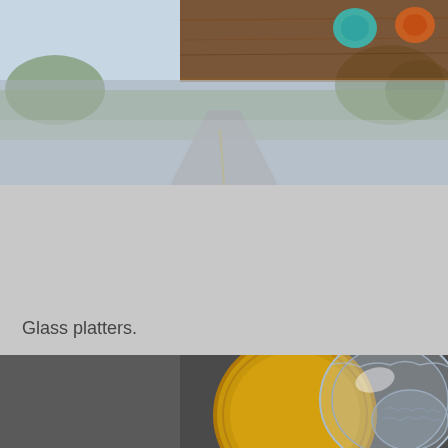[Figure (photo): Top portion shows small colorful objects (teal and orange/red) on a wooden table surface, overlaid with a blurred outdoor road scene showing a straight highway receding into the distance with fields and trees on either side under a light blue sky.]
Glass platters.
[Figure (photo): Photo of glass platters on a dark gray surface, including a yellow/mustard colored plate on the left and a clear glass platter with decorative wavy edges on the right.]